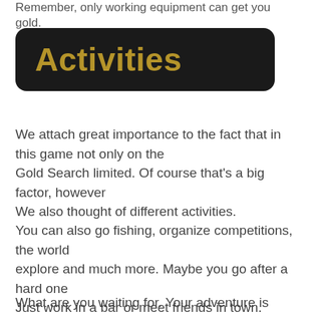Remember, only working equipment can get you gold.
Activities
We attach great importance to the fact that in this game not only on the Gold Search limited. Of course that's a big factor, however We also thought of different activities.
You can also go fishing, organize competitions, the world explore and much more. Maybe you go after a hard one Just work in a bar or meet friends in town. There are hardly any limits.
What are you waiting for. Your adventure is already